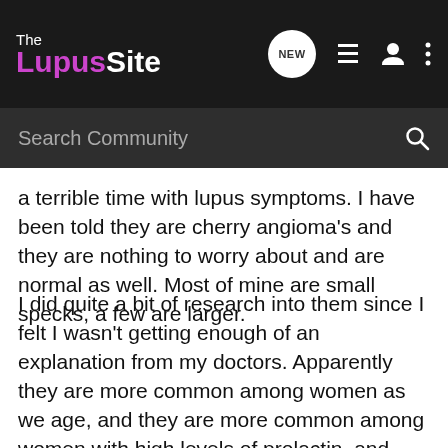The Lupus Site
Search Community
a terrible time with lupus symptoms. I have been told they are cherry angioma's and they are nothing to worry about and are normal as well. Most of mine are small specks, a few are larger.
I did quite a bit of research into them since I felt I wasn't getting enough of an explanation from my doctors. Apparently they are more common among women as we age, and they are more common among women with high levels of prolactin, and they are almost always truly harmless with no serious condition behind them. I guess for myself, I've decided that they are harmless, nothing can be done about them, they probably started appearing from high prolactin levels in my case, and I'm still here so can't be too serious after all! 🙂
It's been nearly 4 years now since I got them, and I am doing